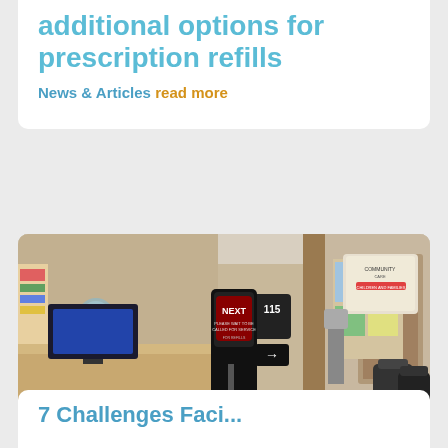additional options for prescription refills
News & Articles
read more
[Figure (photo): Interior of a pharmacy or medical clinic waiting area showing a reception desk on the left with a computer monitor, a 'Take a Number / Next' ticket dispenser kiosk in the center, bulletin boards with flyers and pamphlets on the wall, directional signs including an arrow, and chairs visible on the right side.]
7 Challenges Faci...